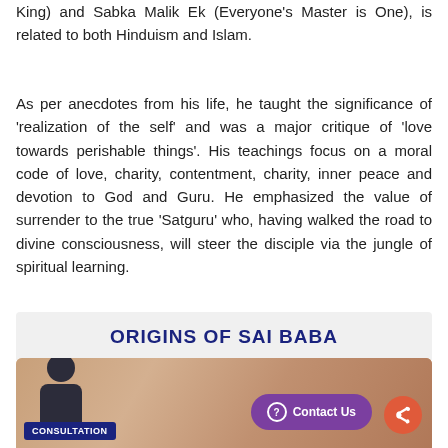King) and Sabka Malik Ek (Everyone's Master is One), is related to both Hinduism and Islam.
As per anecdotes from his life, he taught the significance of 'realization of the self' and was a major critique of 'love towards perishable things'. His teachings focus on a moral code of love, charity, contentment, charity, inner peace and devotion to God and Guru. He emphasized the value of surrender to the true 'Satguru' who, having walked the road to divine consciousness, will steer the disciple via the jungle of spiritual learning.
ORIGINS OF SAI BABA
[Figure (photo): A close-up photo of what appears to be hands or fabric in warm earthy tones. Bottom-left shows a woman consultant badge labeled CONSULTATION. Bottom-right shows a purple Contact Us button and an orange share button.]